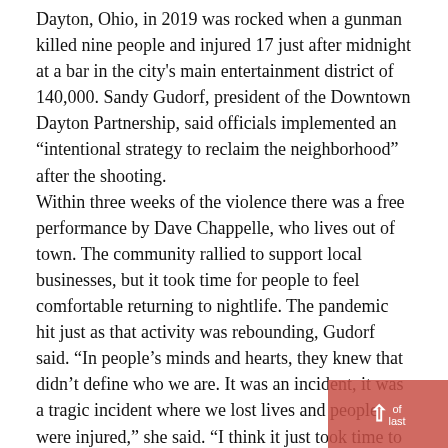Dayton, Ohio, in 2019 was rocked when a gunman killed nine people and injured 17 just after midnight at a bar in the city's main entertainment district of 140,000. Sandy Gudorf, president of the Downtown Dayton Partnership, said officials implemented an “intentional strategy to reclaim the neighborhood” after the shooting. Within three weeks of the violence there was a free performance by Dave Chappelle, who lives out of town. The community rallied to support local businesses, but it took time for people to feel comfortable returning to nightlife. The pandemic hit just as that activity was rebounding, Gudorf said. “In people’s minds and hearts, they knew that didn’t define who we are. It was an incident, it was a tragic incident where we lost lives and people were injured,” she said. “I think it just took time to process all of that.” Sacramento Mayor Darrell Steinberg has repeatedly said people should continue to feel comfortable going downtown. “It’s not one or the other ‘when it comes to taking advantage of the city’s entertainment offerings and feeling safe,’” he said last.